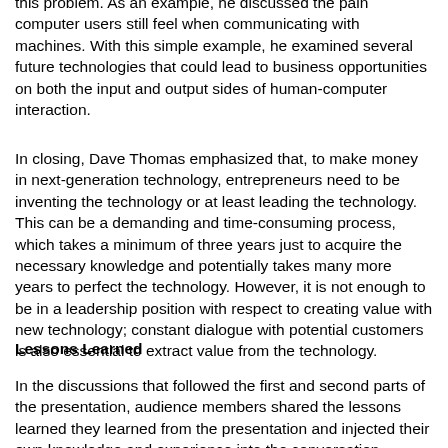this problem. As an example, he discussed the pain computer users still feel when communicating with machines. With this simple example, he examined several future technologies that could lead to business opportunities on both the input and output sides of human-computer interaction.
In closing, Dave Thomas emphasized that, to make money in next-generation technology, entrepreneurs need to be inventing the technology or at least leading the technology. This can be a demanding and time-consuming process, which takes a minimum of three years just to acquire the necessary knowledge and potentially takes many more years to perfect the technology. However, it is not enough to be in a leadership position with respect to creating value with new technology; constant dialogue with potential customers is also essential to extract value from the technology.
Lessons Learned
In the discussions that followed the first and second parts of the presentation, audience members shared the lessons learned they learned from the presentation and injected their own knowledge and experience into the conversation.